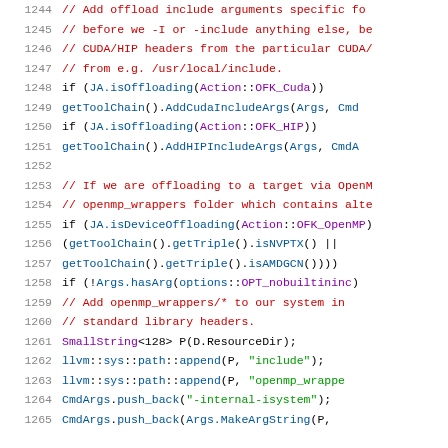[Figure (screenshot): Source code listing lines 1244-1265 in C++/LLVM codebase showing offload include argument handling for CUDA, HIP, and OpenMP targets]